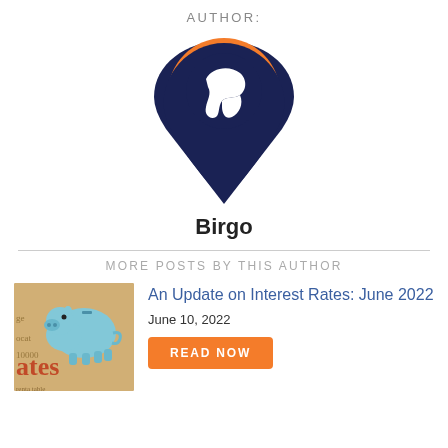AUTHOR:
[Figure (logo): Birgo company logo: a map pin shape with an orange ring at the top and a dark navy bird/mountain silhouette below]
Birgo
MORE POSTS BY THIS AUTHOR
[Figure (photo): Blue piggy bank on top of newspaper with text showing 'rates']
An Update on Interest Rates: June 2022
June 10, 2022
READ NOW